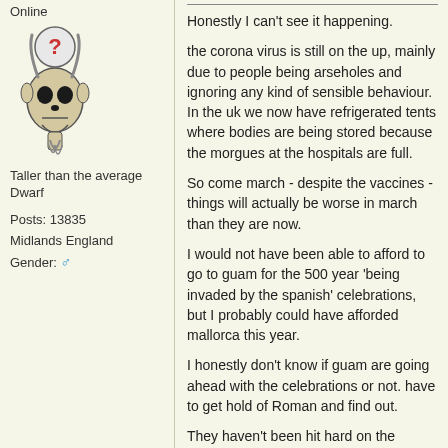Online
[Figure (illustration): Forum user avatar showing a stylized animal skull (goat/deer) with a question mark symbol above it, circular icon]
Taller than the average Dwarf
Posts: 13835
Midlands England
Gender: ♂
Honestly I can't see it happening.

the corona virus is still on the up, mainly due to people being arseholes and ignoring any kind of sensible behaviour.
In the uk we now have refrigerated tents where bodies are being stored because the morgues at the hospitals are full.

So come march - despite the vaccines - things will actually be worse in march than they are now.

I would not have been able to afford to go to guam for the 500 year 'being invaded by the spanish' celebrations, but I probably could have afforded mallorca this year.

I honestly don't know if guam are going ahead with the celebrations or not. have to get hold of Roman and find out.

They haven't been hit hard on the island, compared to elsewhere - but the large us troop contingent have made sure it still gets spread around.

Haven't heard anything from pep yet - but can't believe they'd go ahead with it in march.

Some kind of virtual competition is very much